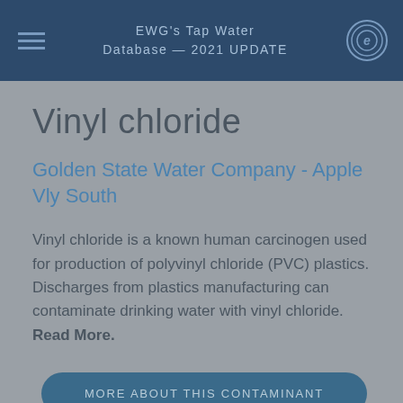EWG's Tap Water Database — 2021 UPDATE
Vinyl chloride
Golden State Water Company - Apple Vly South
Vinyl chloride is a known human carcinogen used for production of polyvinyl chloride (PVC) plastics. Discharges from plastics manufacturing can contaminate drinking water with vinyl chloride. Read More.
MORE ABOUT THIS CONTAMINANT